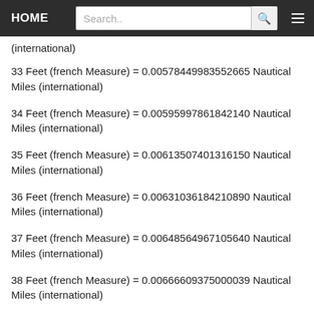HOME  Search..
(international)
33 Feet (french Measure) = 0.00578449983552665 Nautical Miles (international)
34 Feet (french Measure) = 0.00595997861842140 Nautical Miles (international)
35 Feet (french Measure) = 0.00613507401316150 Nautical Miles (international)
36 Feet (french Measure) = 0.00631036184210890 Nautical Miles (international)
37 Feet (french Measure) = 0.00648564967105640 Nautical Miles (international)
38 Feet (french Measure) = 0.00666609375000039 Nautical Miles (international)
39 Feet (french Measure) = 0.00668362253289513 Nautical